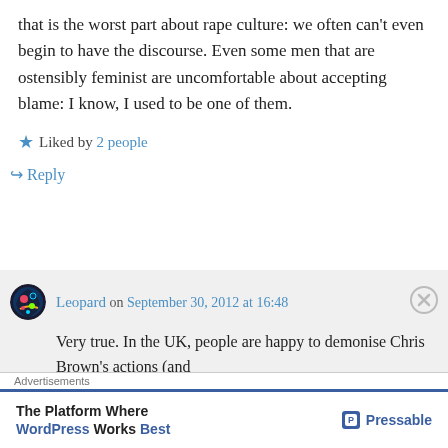that is the worst part about rape culture: we often can't even begin to have the discourse. Even some men that are ostensibly feminist are uncomfortable about accepting blame: I know, I used to be one of them.
Liked by 2 people
↪ Reply
Leopard on September 30, 2012 at 16:48
Very true. In the UK, people are happy to demonise Chris Brown's actions (and
Advertisements
The Platform Where WordPress Works Best — Pressable